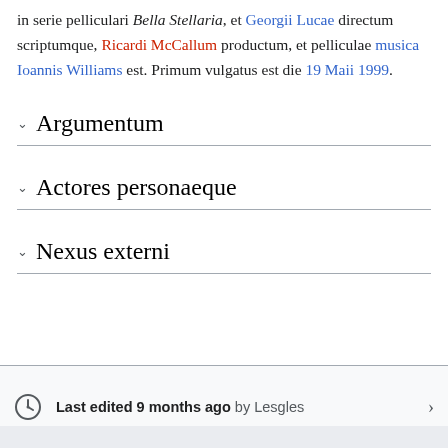in serie pelliculari Bella Stellaria, et Georgii Lucae directum scriptumque, Ricardi McCallum productum, et pelliculae musica Ioannis Williams est. Primum vulgatus est die 19 Maii 1999.
Argumentum
Actores personaeque
Nexus externi
Last edited 9 months ago by Lesgles